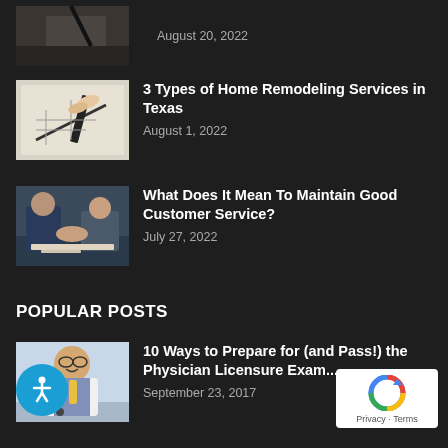[Figure (photo): Partial view of a person at a desk, likely writing or working, with pen visible. Cropped at top.]
August 20, 2022
[Figure (photo): Close-up of hands drawing or writing on architectural/blueprint paper with a pen.]
3 Types of Home Remodeling Services in Texas
August 1, 2022
[Figure (photo): Two people shaking hands over a table with documents.]
What Does It Mean To Maintain Good Customer Service?
July 27, 2022
POPULAR POSTS
[Figure (photo): A smiling doctor wearing a white coat, glasses, and stethoscope, standing in a hospital corridor.]
10 Ways to Prepare for (and Pass!) the Physician Licensure Exam...
September 23, 2017
[Figure (photo): Partial view of a person at a desk studying, with a cup nearby.]
8 Tips to Love Studying
July 10, 2018